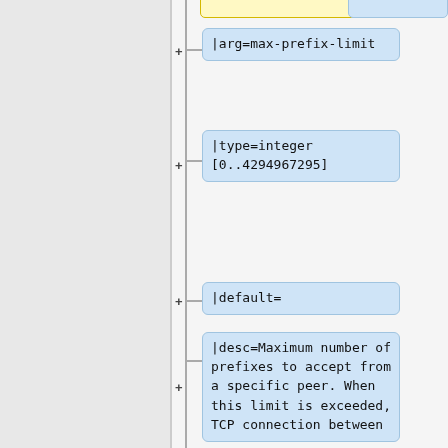[Figure (other): Documentation tree diagram showing API parameter nodes: |arg=max-prefix-limit, |type=integer [0..4294967295], |default=, |desc=Maximum number of prefixes to accept from a specific peer. When this limit is exceeded, TCP connection between]
|arg=max-prefix-limit
|type=integer [0..4294967295]
|default=
|desc=Maximum number of prefixes to accept from a specific peer. When this limit is exceeded, TCP connection between